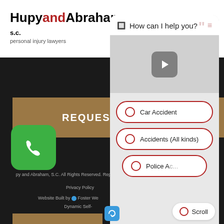[Figure (screenshot): Hupy and Abraham personal injury lawyers logo with red 'and' text]
REQUEST A DONATION
CAREERS
[Figure (screenshot): Chat widget overlay with 'How can I help you?' header, video play button, and radio button choices: Car Accident, Accidents (All kinds), Police A[ccident], with a Scroll button]
Car Accident
Accidents (All kinds)
Police A[ccident]
py and Abraham, S.C. All Rights Reserved. Reproduced with P...
Privacy Policy
Website Built by  Foster We[b Marketing]
Dynamic Self[...content...]